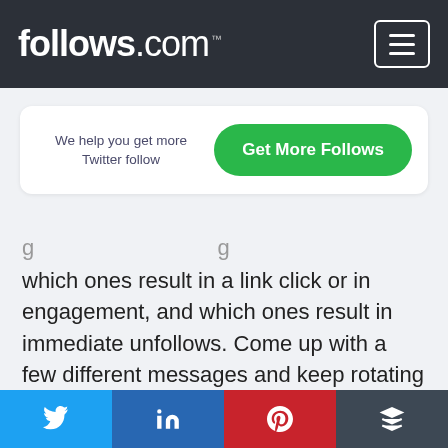follows.com™
We help you get more Twitter follow
Get More Follows
which ones result in a link click or in engagement, and which ones result in immediate unfollows. Come up with a few different messages and keep rotating through them. This will help you over time, since Twitter may catch on to the number of messages you're sending out that all look the same. You don't want to trip the automation error
Twitter | LinkedIn | Pinterest | Buffer social share buttons